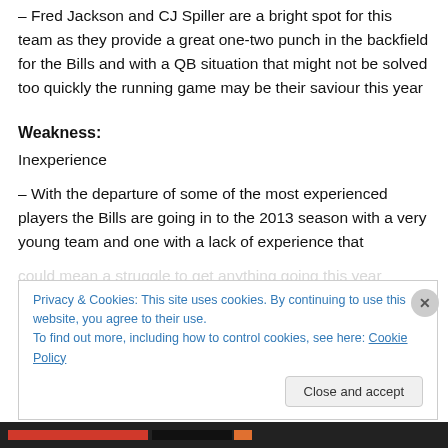– Fred Jackson and CJ Spiller are a bright spot for this team as they provide a great one-two punch in the backfield for the Bills and with a QB situation that might not be solved too quickly the running game may be their saviour this year
Weakness:
Inexperience
– With the departure of some of the most experienced players the Bills are going in to the 2013 season with a very young team and one with a lack of experience that could mean a struggle to get anything going this year
Privacy & Cookies: This site uses cookies. By continuing to use this website, you agree to their use.
To find out more, including how to control cookies, see here: Cookie Policy
Close and accept